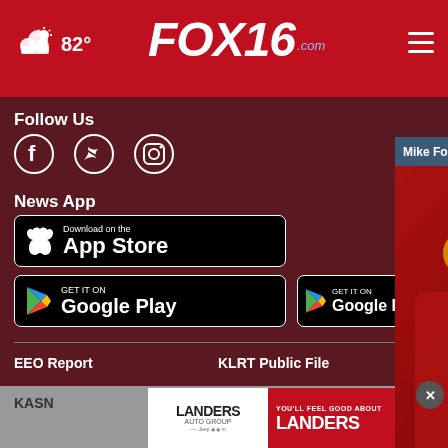82° FOX16.com
Follow Us
[Figure (screenshot): Social media icons: Facebook, Twitter, Instagram (white on dark red background)]
News App
[Figure (screenshot): Download on the App Store button (black with Apple logo)]
[Figure (screenshot): GET IT ON Google Play button (black, left side)]
[Figure (screenshot): GET IT ON Google Play button (black, right side)]
[Figure (screenshot): Video popup: Mike Ford's solo homer (1) - baseball players in Angels red uniforms celebrating in dugout, with muted audio icon overlay]
EEO Report
KLRT Public File
KASN
[Figure (screenshot): Landers Auto Group advertisement banner with 'YOU'LL FEEL GOOD ABOUT LANDERS' text on red background with arrow button, and close button overlay]